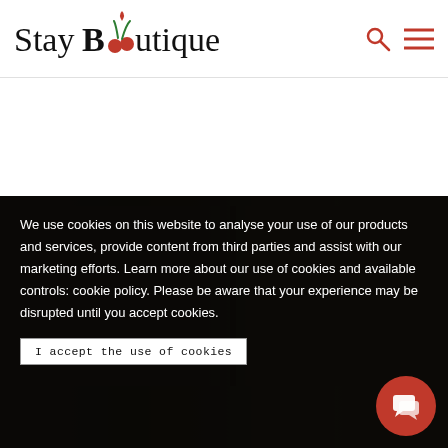StayBoutique — navigation header with logo, search icon, and menu icon
[Figure (screenshot): Partial interior photo of a hotel room visible behind the cookie consent overlay — warm brown and beige tones]
We use cookies on this website to analyse your use of our products and services, provide content from third parties and assist with our marketing efforts. Learn more about our use of cookies and available controls: cookie policy. Please be aware that your experience may be disrupted until you accept cookies.
I accept the use of cookies